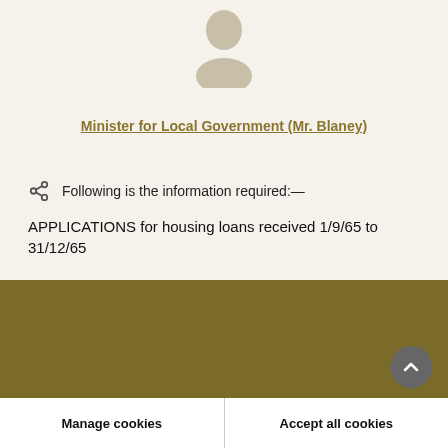[Figure (illustration): Silhouette avatar icon of a person (head and shoulders) in beige/tan color]
Minister for Local Government (Mr. Blaney)
Following is the information required:—
APPLICATIONS for housing loans received 1/9/65 to 31/12/65
Cookies on oireachtas.ie
We use cookies to ensure our website works well. We'd like to use analytics and functionality cookies to help us improve it but we require your consent to do so. If you don't consent, only necessary cookies will be used. Read more about our cookies
Manage cookies
Accept all cookies